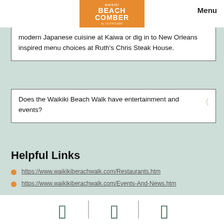[Figure (logo): Waikiki Beach Comber by Outrigger logo on orange background]
Menu
modern Japanese cuisine at Kaiwa or dig in to New Orleans inspired menu choices at Ruth's Chris Steak House.
Does the Waikiki Beach Walk have entertainment and events?
Helpful Links
https://www.waikikiberachwalk.com/Restaurants.htm
https://www.waikikiberachwalk.com/Events-And-News.htm
[Figure (other): Social media icons (three icons separated by vertical lines) at the bottom of the page]